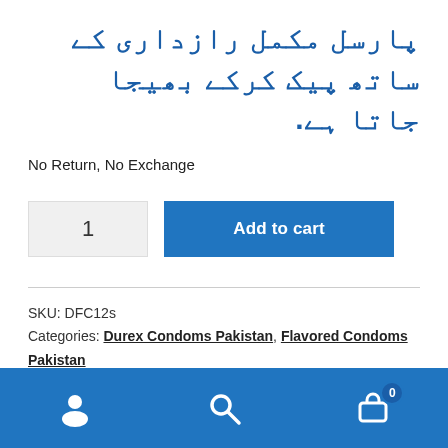پارسل مکمل رازداری کے ساتھ پیک کرکے بھیجا جاتا ہے.
No Return, No Exchange
[Figure (screenshot): Quantity input box showing 1, and Add to cart button]
SKU: DFC12s
Categories: Durex Condoms Pakistan, Flavored Condoms Pakistan
Share this:
[Figure (other): Social share icons: Twitter, Facebook, WhatsApp, Telegram, Pinterest]
Navigation bar with user, search, and cart (0) icons